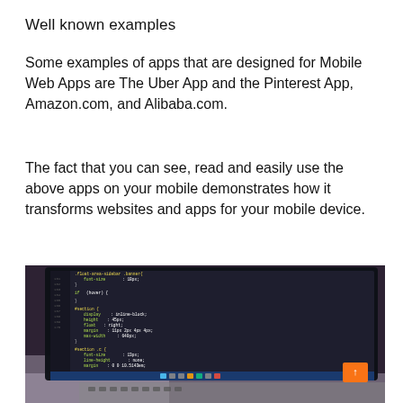Well known examples
Some examples of apps that are designed for Mobile Web Apps are The Uber App and the Pinterest App, Amazon.com, and Alibaba.com.
The fact that you can see, read and easily use the above apps on your mobile demonstrates how it transforms websites and apps for your mobile device.
[Figure (photo): A laptop with a code editor open on screen showing CSS/web code, photographed at an angle. An orange button with an upward arrow is visible in the lower-right corner of the screen.]